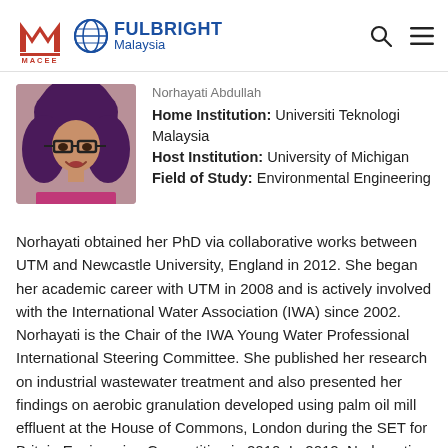MACEE | Fulbright Malaysia
[Figure (photo): Profile photo of Norhayati Abdullah, a Malaysian woman wearing a purple hijab and glasses, smiling.]
Norhayati Abdullah
Home Institution: Universiti Teknologi Malaysia
Host Institution: University of Michigan
Field of Study: Environmental Engineering
Norhayati obtained her PhD via collaborative works between UTM and Newcastle University, England in 2012. She began her academic career with UTM in 2008 and is actively involved with the International Water Association (IWA) since 2002. Norhayati is the Chair of the IWA Young Water Professional International Steering Committee. She published her research on industrial wastewater treatment and also presented her findings on aerobic granulation developed using palm oil mill effluent at the House of Commons, London during the SET for Britain Engineering Competition in 2010. In 2012, Norhayati received the IWA Young